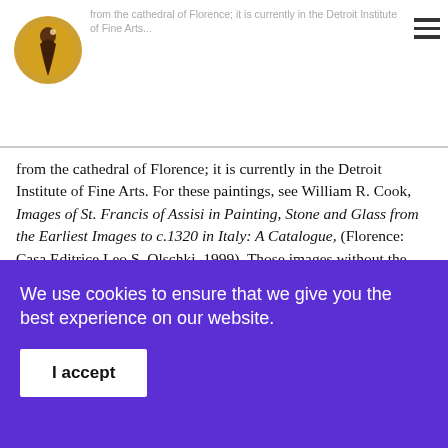from the cathedral of Florence; it is currently in the Detroit Institute of Fine Arts. For these paintings, see William R. Cook, Images of St. Francis of Assisi in Painting, Stone and Glass from the Earliest Images to c.1320 in Italy: A Catalogue, (Florence: Casa Editrice Leo S. Olschki, 1999). Those images without the stigmata are #4, 40, 59, 103, 108, 128, 134, 193. Those of secure Benedictine provenance are #40 (Bominaco, Abruzzi), #103 (Montelabate, Umbria), #193 (Subiaco, Lazio). The Dominican image is now in the Yale University Museum of Art in New Haven, CT.
We use cookies to ensure that we give you the best experience on our website.